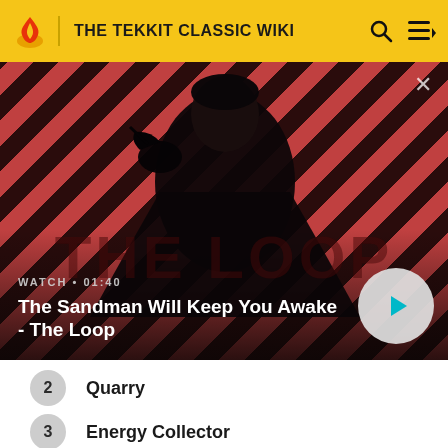THE TEKKIT CLASSIC WIKI
[Figure (screenshot): Video banner showing a dark figure wearing black with a raven on shoulder, against a red and dark diagonal striped background. Text overlay reads: WATCH • 01:40, The Sandman Will Keep You Awake - The Loop. A play button is visible on the right. A close (x) button is in the top-right corner. The Loop watermark text is in the background.]
2 Quarry
3 Energy Collector